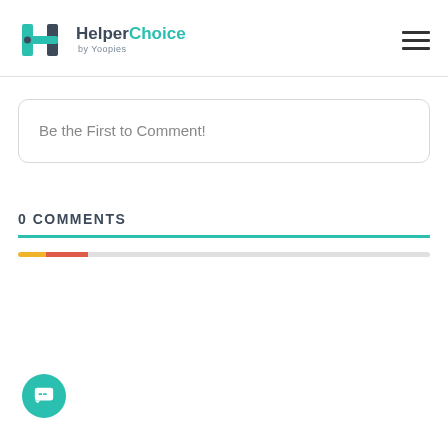[Figure (logo): HelperChoice by Yoopies logo with teal H icon and text]
Be the First to Comment!
0 COMMENTS
[Figure (infographic): Teal horizontal rule divider under 0 COMMENTS header]
[Figure (infographic): Progress bar with yellow-orange and red-orange segments on gray background]
[Figure (infographic): Teal circular chat/comment button at bottom left]